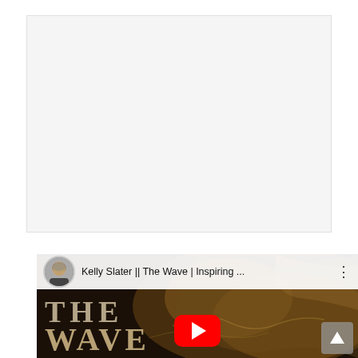[Figure (other): White/light gray blank rectangular area at top of page, possibly a placeholder for embedded content]
[Figure (screenshot): YouTube video thumbnail for 'Kelly Slater || The Wave | Inspiring ...' showing a dark golden-toned image with large serif text reading 'THE WAVE', a YouTube play button overlay in the center, a user avatar with channel name in a white header bar, a three-dot menu icon, and a scroll-up arrow button in the bottom right corner]